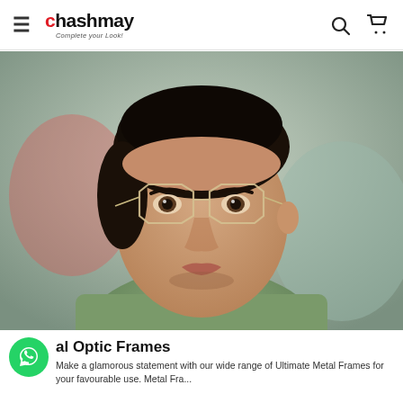chashmay — Complete your Look! (navigation header with hamburger menu, search icon, cart icon)
[Figure (photo): Close-up portrait of a young man with dark hair wearing round thin metal-frame glasses, dressed in a green shirt, with a blurred outdoor background.]
al Optic Frames
Make a glamorous statement with our wide range of Ultimate Metal Frames for your favourable use. Metal Fra...